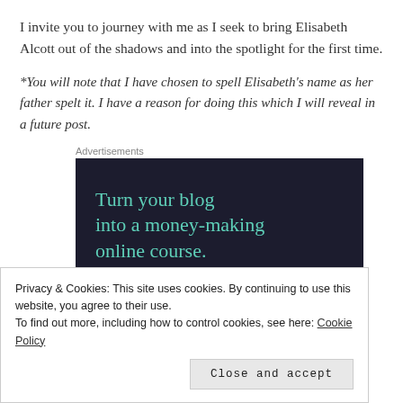I invite you to journey with me as I seek to bring Elisabeth Alcott out of the shadows and into the spotlight for the first time.
*You will note that I have chosen to spell Elisabeth's name as her father spelt it. I have a reason for doing this which I will reveal in a future post.
Advertisements
[Figure (other): Advertisement banner with dark navy background and teal text reading 'Turn your blog into a money-making online course.']
Privacy & Cookies: This site uses cookies. By continuing to use this website, you agree to their use.
To find out more, including how to control cookies, see here: Cookie Policy
Close and accept